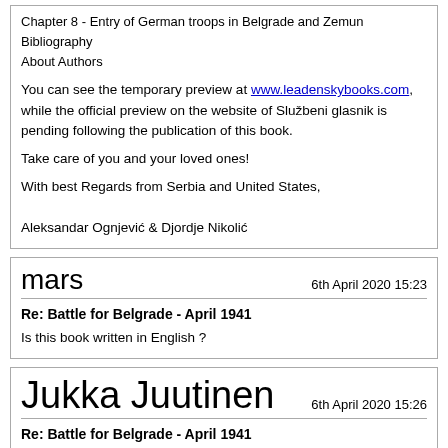Chapter 8 - Entry of German troops in Belgrade and Zemun
Bibliography
About Authors
You can see the temporary preview at www.leadenskybooks.com, while the official preview on the website of Službeni glasnik is pending following the publication of this book.
Take care of you and your loved ones!
With best Regards from Serbia and United States,
Aleksandar Ognjević & Djordje Nikolić
mars
6th April 2020 15:23
Re: Battle for Belgrade - April 1941
Is this book written in English ?
Jukka Juutinen
6th April 2020 15:26
Re: Battle for Belgrade - April 1941
Check the link: Bilingual English/Serbian. In fact, it is mentioned in the original post already.